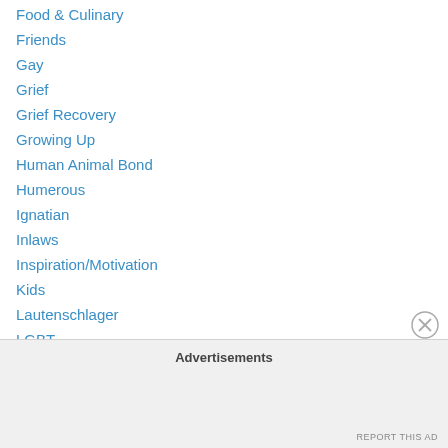Food & Culinary
Friends
Gay
Grief
Grief Recovery
Growing Up
Human Animal Bond
Humerous
Ignatian
Inlaws
Inspiration/Motivation
Kids
Lautenschlager
LGBT
Life Lessons
Makes it All Worthwhile
Ministry
Advertisements
REPORT THIS AD